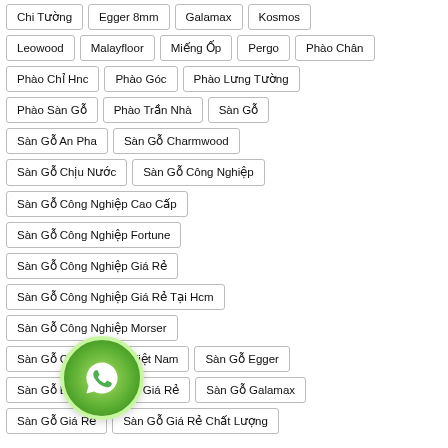Chi Tường
Egger 8mm
Galamax
Kosmos
Leowood
Malayfloor
Miếng Ốp
Pergo
Phào Chân
Phào Chỉ Hnc
Phào Góc
Phào Lưng Tường
Phào Sàn Gỗ
Phào Trần Nhà
Sàn Gỗ
Sàn Gỗ An Pha
Sàn Gỗ Charmwood
Sàn Gỗ Chịu Nước
Sàn Gỗ Công Nghiệp
Sàn Gỗ Công Nghiệp Cao Cấp
Sàn Gỗ Công Nghiệp Fortune
Sàn Gỗ Công Nghiệp Giá Rẻ
Sàn Gỗ Công Nghiệp Giá Rẻ Tại Hcm
Sàn Gỗ Công Nghiệp Morser
Sàn Gỗ Công Nghiệp Việt Nam
Sàn Gỗ Egger
Sàn Gỗ Egger Cao Cấp Giá Rẻ
Sàn Gỗ Galamax
Sàn Gỗ Giá Rẻ
Sàn Gỗ Giá Rẻ Chất Lượng